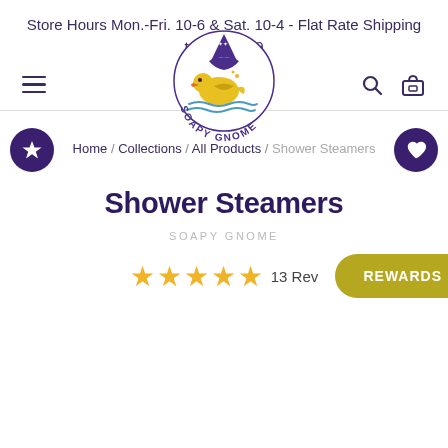Store Hours Mon.-Fri. 10-6 & Sat. 10-4 - Flat Rate Shipping to US $7.49
[Figure (logo): Soapy Gnome logo: circular emblem with a gnome wearing a purple hat, yellow bird/duck, and flowers, with text 'Soapy Gnome' around the bottom]
Home / Collections / All Products / Shower Steamers
Shower Steamers
SOAPY GNOME
★★★★★ 13 Reviews